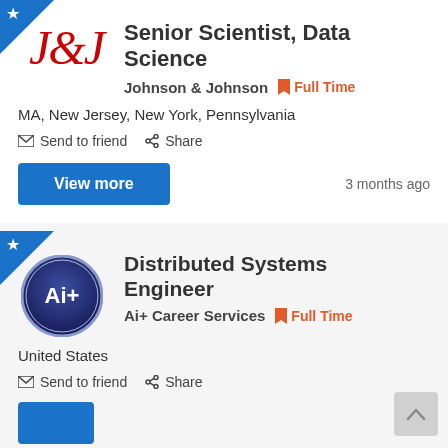[Figure (logo): Johnson & Johnson red cursive script logo]
Senior Scientist, Data Science
Johnson & Johnson   Full Time
MA, New Jersey, New York, Pennsylvania
Send to friend   Share
View more
3 months ago
[Figure (logo): Ai+ Career Services circular dark blue logo with Ai+ text]
Distributed Systems Engineer
Ai+ Career Services   Full Time
United States
Send to friend   Share